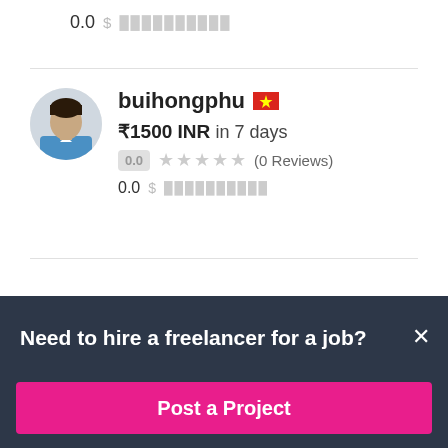0.0  $ ██████████
[Figure (photo): Profile photo of user buihongphu]
buihongphu 🇻🇳
₹1500 INR in 7 days
0.0  ★★★★★ (0 Reviews)
0.0  $ ██████████
Need to hire a freelancer for a job?
Post a Project